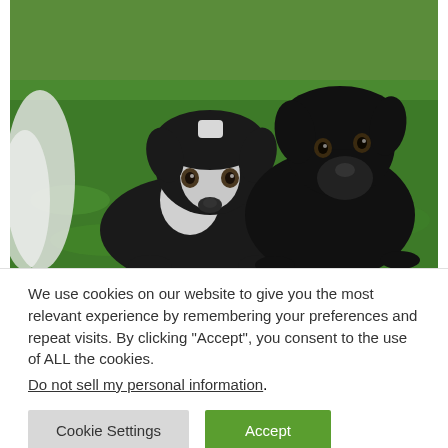[Figure (photo): Two dogs wearing black hoodies/sweaters lying on green grass. The dog on the left is black and white, the dog on the right is all black.]
We use cookies on our website to give you the most relevant experience by remembering your preferences and repeat visits. By clicking "Accept", you consent to the use of ALL the cookies.
Do not sell my personal information.